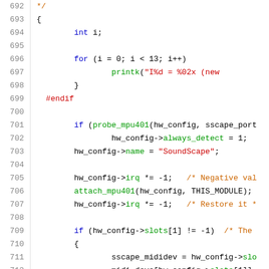Source code listing lines 692-713 showing C code with syntax highlighting including for loop, printk, probe_mpu401, attach_mpu401, hw_config operations, and conditional blocks